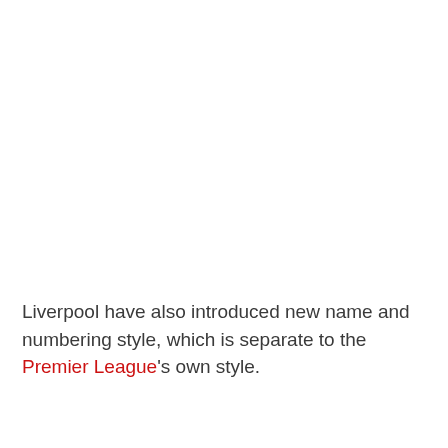Liverpool have also introduced new name and numbering style, which is separate to the Premier League's own style.